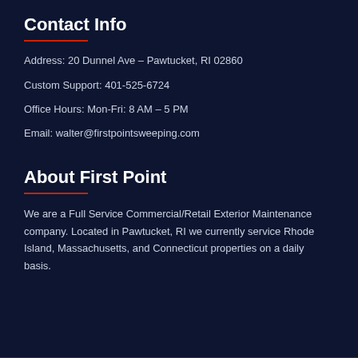Contact Info
Address: 20 Dunnel Ave – Pawtucket, RI 02860
Custom Support: 401-525-6724
Office Hours: Mon-Fri: 8 AM – 5 PM
Email: walter@firstpointsweeping.com
About First Point
We are a Full Service Commercial/Retail Exterior Maintenance company. Located in Pawtucket, RI we currently service Rhode Island, Massachusetts, and Connecticut properties on a daily basis.